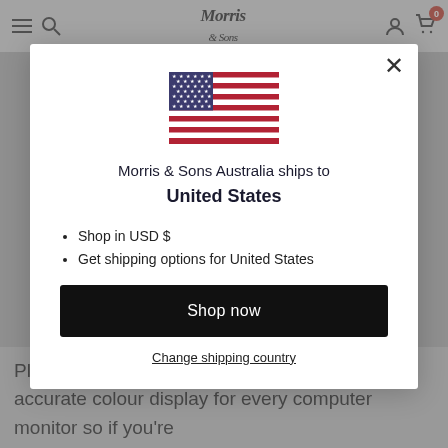Morris & Sons (logo) — navigation header with hamburger menu, search, account, and cart (0) icons
[Figure (screenshot): US flag emoji/image centered in modal]
Morris & Sons Australia ships to United States
Shop in USD $
Get shipping options for United States
Shop now
Change shipping country
Please note: it's impossible to guarantee an accurate colour display for every computer monitor so if you're